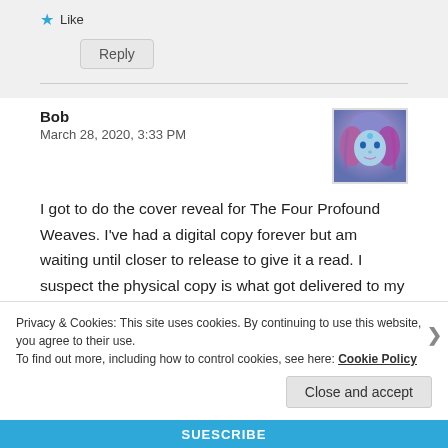★ Like
Reply
Bob
March 28, 2020, 3:33 PM
[Figure (photo): Avatar image of a fantasy woman with blue face paint and colorful hair]
I got to do the cover reveal for The Four Profound Weaves. I've had a digital copy forever but am waiting until closer to release to give it a read. I suspect the physical copy is what got delivered to my PO Box last week, but I can't get over
Privacy & Cookies: This site uses cookies. By continuing to use this website, you agree to their use.
To find out more, including how to control cookies, see here: Cookie Policy
Close and accept